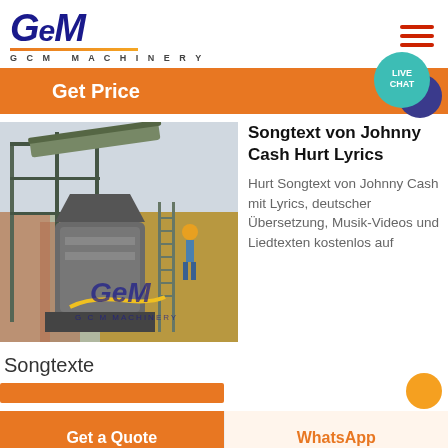[Figure (logo): GCM Machinery logo with italic bold blue text and orange underline]
[Figure (other): Hamburger menu icon with three orange/red horizontal bars]
Get Price
[Figure (other): Live Chat speech bubble icon in teal with dark blue chat bubble]
[Figure (photo): Industrial machinery/crusher equipment at a construction or mining site with scaffolding and a worker in safety gear. GCM Machinery watermark overlay.]
Songtext von Johnny Cash Hurt Lyrics
Hurt Songtext von Johnny Cash mit Lyrics, deutscher Übersetzung, Musik-Videos und Liedtexten kostenlos auf
Songtexte
Get a Quote
WhatsApp